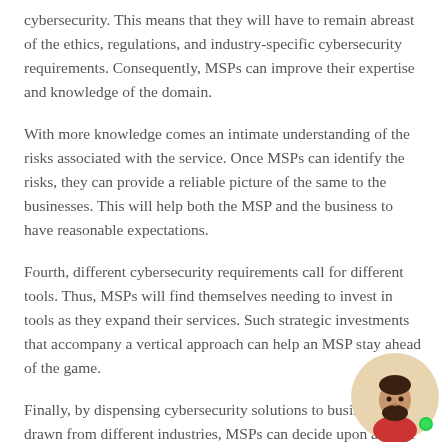cybersecurity. This means that they will have to remain abreast of the ethics, regulations, and industry-specific cybersecurity requirements. Consequently, MSPs can improve their expertise and knowledge of the domain.
With more knowledge comes an intimate understanding of the risks associated with the service. Once MSPs can identify the risks, they can provide a reliable picture of the same to the businesses. This will help both the MSP and the business to have reasonable expectations.
Fourth, different cybersecurity requirements call for different tools. Thus, MSPs will find themselves needing to invest in tools as they expand their services. Such strategic investments that accompany a vertical approach can help an MSP stay ahead of the game.
Finally, by dispensing cybersecurity solutions to businesses drawn from different industries, MSPs can decide upon a niche or industry they want to specialize in.
[Figure (illustration): Avatar illustration of a man with a beard wearing a red shirt, with a green online status indicator dot, on a beige/tan circular background.]